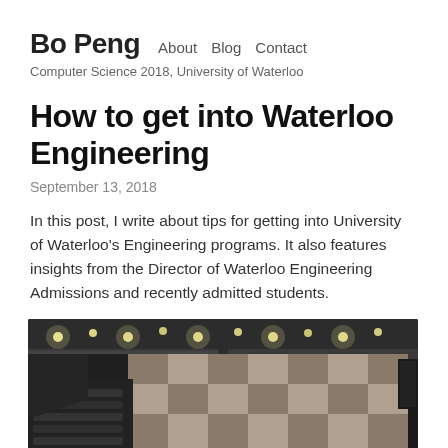Bo Peng  About  Blog  Contact
Computer Science 2018, University of Waterloo
How to get into Waterloo Engineering
September 13, 2018
In this post, I write about tips for getting into University of Waterloo's Engineering programs. It also features insights from the Director of Waterloo Engineering Admissions and recently admitted students.
[Figure (photo): Interior photo of a large auditorium or lecture hall, showing ceiling lights, tiered seating, and a large wall panel in the background.]